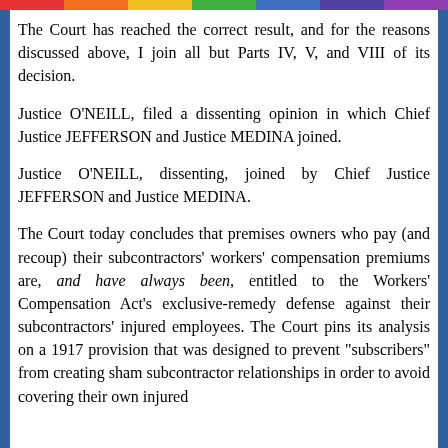The Court has reached the correct result, and for the reasons discussed above, I join all but Parts IV, V, and VIII of its decision.
Justice O'NEILL, filed a dissenting opinion in which Chief Justice JEFFERSON and Justice MEDINA joined.
Justice O'NEILL, dissenting, joined by Chief Justice JEFFERSON and Justice MEDINA.
The Court today concludes that premises owners who pay (and recoup) their subcontractors' workers' compensation premiums are, and have always been, entitled to the Workers' Compensation Act's exclusive-remedy defense against their subcontractors' injured employees. The Court pins its analysis on a 1917 provision that was designed to prevent "subscribers" from creating sham subcontractor relationships in order to avoid covering their own injured